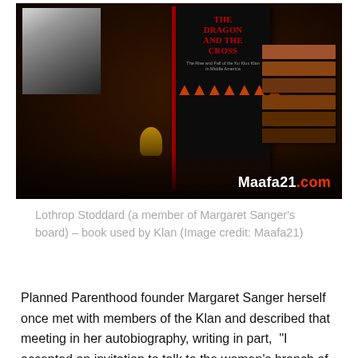[Figure (photo): Photo of a book titled 'The Dragon and the Cross: The Rise and Fall of the Ku Klux Klan in Middle America' displayed with a black-and-white portrait photo in the upper left and stacked books to the right, on a dark surface. Watermark reads 'Maafa21.com' in bottom right corner.]
Lothrop Stoddard (a member of Margaret Sanger's board) – book used by Klan (Image credit: Maafa21)
Planned Parenthood founder Margaret Sanger herself once met with members of the Klan and described that meeting in her autobiography, writing in part, “I accepted an invitation to talk to the women’s branch of the Ku Klux Klan…. I saw through the door dim figures parading with banners and illuminated crosses…. I was escorted to the